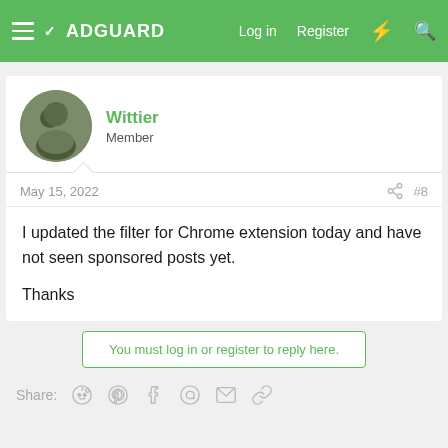ADGUARD | Log in | Register
Wittier
Member
May 15, 2022  #8
I updated the filter for Chrome extension today and have not seen sponsored posts yet.

Thanks
You must log in or register to reply here.
Share: